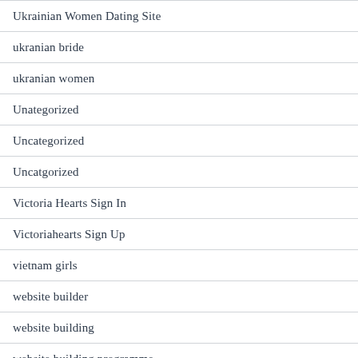Ukrainian Women Dating Site
ukranian bride
ukranian women
Unategorized
Uncategorized
Uncatgorized
Victoria Hearts Sign In
Victoriahearts Sign Up
vietnam girls
website builder
website building
website building programme